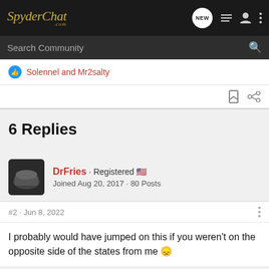SpyderChat.com
Search Community
Solennel and Mr2salty
6 Replies
DrFries · Registered  Joined Aug 20, 2017 · 80 Posts
#2 · Jun 8, 2022
I probably would have jumped on this if you weren't on the opposite side of the states from me 😞